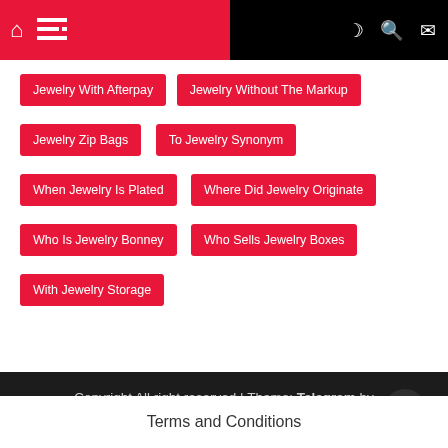Navigation bar with home, menu, dark mode, search, mail icons
Jewelry With Afterpay
Jewelry Without The Markup
Jewelry Zip Bags
To Jewelry Synonym
When Jewelry Is Plated
Where Did Jewelry Originate
Who Is Jewelry Bonney
Who Sells Jewelry Boxes
With Jewelry Storage
Copyright All right reserved | Theme: Telegram by Themeinwp
Terms and Conditions